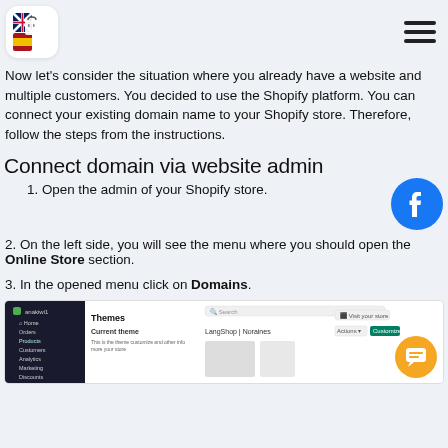[Logo with UK/Spain flags] [Hamburger menu icon]
Now let's consider the situation where you already have a website and multiple customers. You decided to use the Shopify platform. You can connect your existing domain name to your Shopify store. Therefore, follow the steps from the instructions.
Connect domain via website admin
1. Open the admin of your Shopify store.
2. On the left side, you will see the menu where you should open the Online Store section.
3. In the opened menu click on Domains.
[Figure (screenshot): Screenshot of Shopify admin panel showing Themes page with current theme and customization options]